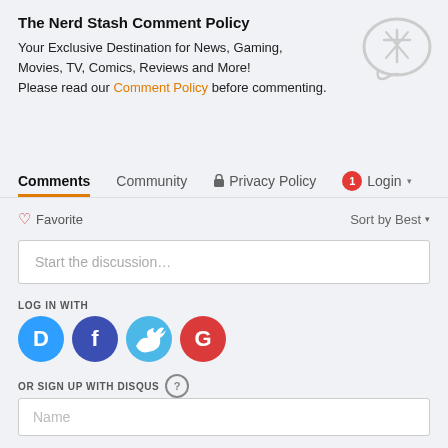The Nerd Stash Comment Policy
Your Exclusive Destination for News, Gaming, Movies, TV, Comics, Reviews and More!
Please read our Comment Policy before commenting.
[Figure (illustration): Light gray chat bubble icon in top right corner]
Comments | Community | Privacy Policy | Login
♡ Favorite
Sort by Best ▾
Start the discussion…
LOG IN WITH
[Figure (logo): Social login icons: Disqus (blue D), Facebook (dark blue f), Twitter (cyan bird), Google (red G)]
OR SIGN UP WITH DISQUS ?
Name